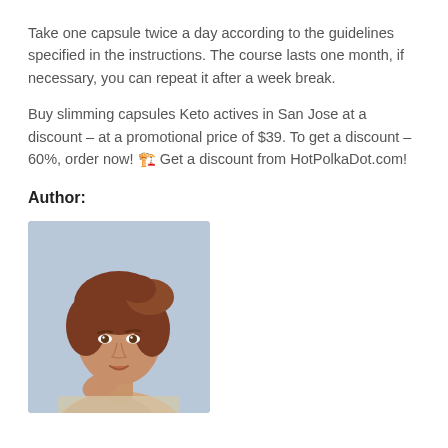Take one capsule twice a day according to the guidelines specified in the instructions. The course lasts one month, if necessary, you can repeat it after a week break.
Buy slimming capsules Keto actives in San Jose at a discount – at a promotional price of $39. To get a discount – 60%, order now! 🔖 Get a discount from HotPolkaDot.com!
Author:
[Figure (photo): Portrait photo of a young woman with reddish-brown hair pulled up, looking at the camera with a neutral expression, light blue background.]